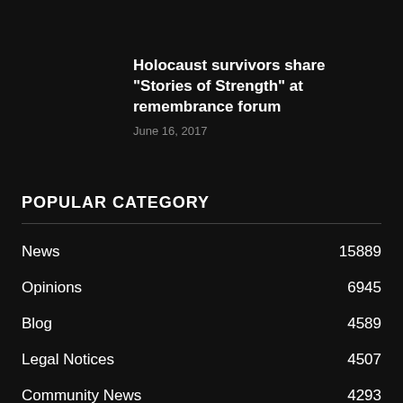Holocaust survivors share “Stories of Strength” at remembrance forum
June 16, 2017
POPULAR CATEGORY
| Category | Count |
| --- | --- |
| News | 15889 |
| Opinions | 6945 |
| Blog | 4589 |
| Legal Notices | 4507 |
| Community News | 4293 |
| New Hyde Park Herald Courier | 3295 |
| Great Neck News | 3224 |
| Roslyn Times | 3174 |